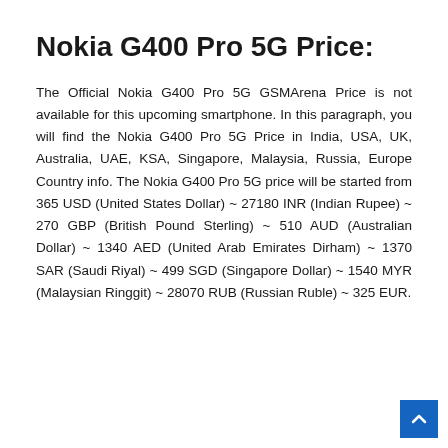Nokia G400 Pro 5G Price:
The Official Nokia G400 Pro 5G GSMArena Price is not available for this upcoming smartphone. In this paragraph, you will find the Nokia G400 Pro 5G Price in India, USA, UK, Australia, UAE, KSA, Singapore, Malaysia, Russia, Europe Country info. The Nokia G400 Pro 5G price will be started from 365 USD (United States Dollar) ~ 27180 INR (Indian Rupee) ~ 270 GBP (British Pound Sterling) ~ 510 AUD (Australian Dollar) ~ 1340 AED (United Arab Emirates Dirham) ~ 1370 SAR (Saudi Riyal) ~ 499 SGD (Singapore Dollar) ~ 1540 MYR (Malaysian Ringgit) ~ 28070 RUB (Russian Ruble) ~ 325 EUR.